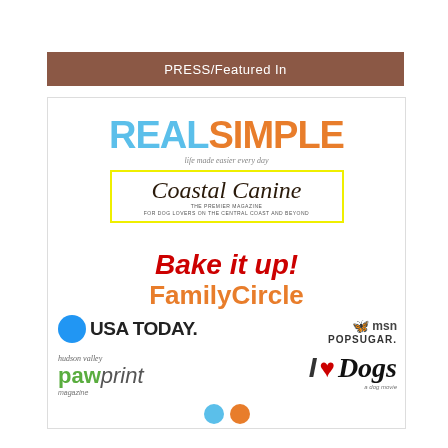PRESS/Featured In
[Figure (infographic): Press/media logos collage featuring: Real Simple (blue and orange), Coastal Canine magazine (script font, yellow border), Bake it up! (red italic), FamilyCircle (orange), USA Today (blue circle + black text), MSN and POPSUGAR, Hudson Valley Pawprint magazine (green and grey), I Love Dogs (with red heart icon), and partial circles at bottom.]